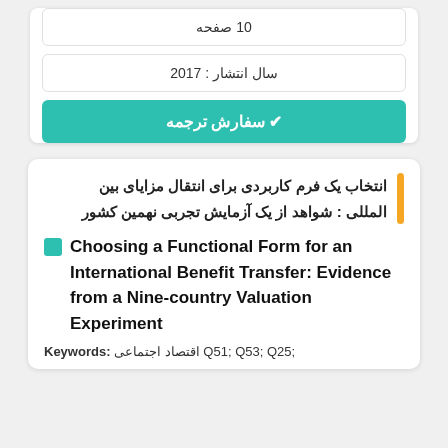10 صفحه
سال انتشار : 2017
✔ سفارش ترجمه
انتخاب یک فرم کاربردی برای انتقال مزایای بین المللی : شواهد از یک آزمایش تجربی نهمین کشور
Choosing a Functional Form for an International Benefit Transfer: Evidence from a Nine-country Valuation Experiment
Keywords: اقتصاد اجتماعی Q51; Q53; Q25;